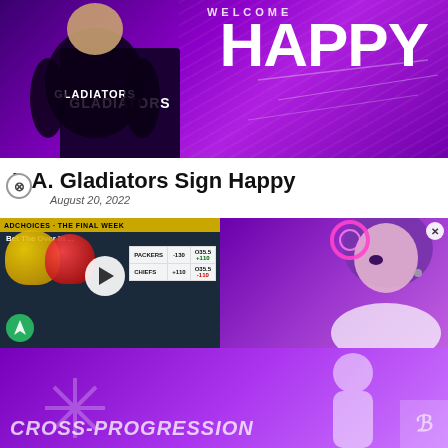[Figure (photo): L.A. Gladiators esports team welcome banner for player 'Happy'. Purple background with glowing wave effects. Player in Gladiators jersey on left, large 'WELCOME HAPPY' text on right.]
L.A. Gladiators Sign Happy
August 20, 2022
[Figure (screenshot): Video ad thumbnail showing sports betting odds for PACKERS (-130, O35.5 +110) vs CHIEFS (+110, O35.5 -110) with helmet graphics and a play button overlay. Text: 'Bet The Over In ...']
[Figure (photo): Overwatch game character with purple hair and pink cyber headpiece on purple gradient background, part of a Cross-Progression advertisement.]
[Figure (photo): Bottom advertisement banner for Overwatch Cross-Progression feature with text 'CROSS-PROGRESSION' in italic white letters over purple gradient background with game character silhouette.]